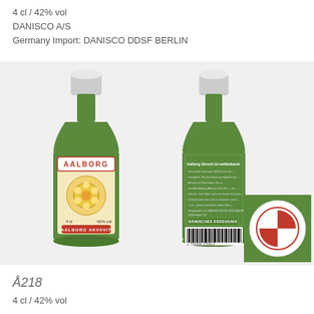4 cl  /  42% vol
DANISCO A/S
Germany Import: DANISCO DDSF BERLIN
[Figure (photo): Two miniature Aalborg Akvavit green glass bottles (front and back labels shown), plus a close-up of the bottle cap/seal showing a red cross/umbrella logo on white background.]
Å218
4 cl  /  42% vol